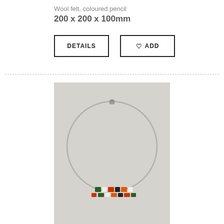Wool felt, coloured pencil
200 x 200 x 100mm
DETAILS
♡ ADD
[Figure (photo): A silver wire necklace/hoop displayed against a light grey background, with small colourful rectangular beads (red, green, white, black, orange) clustered at the bottom centre of the hoop. A small clasp is visible at the top.]